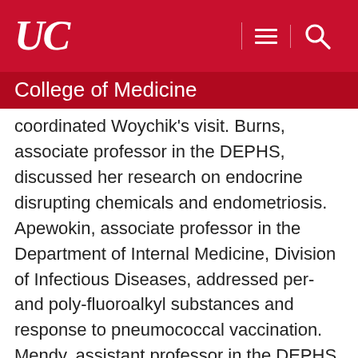UC — College of Medicine
coordinated Woychik's visit. Burns, associate professor in the DEPHS, discussed her research on endocrine disrupting chemicals and endometriosis. Apewokin, associate professor in the Department of Internal Medicine, Division of Infectious Diseases, addressed per- and poly-fluoroalkyl substances and response to pneumococcal vaccination. Mendy, assistant professor in the DEPHS, discussed air pollution and COVID-19.